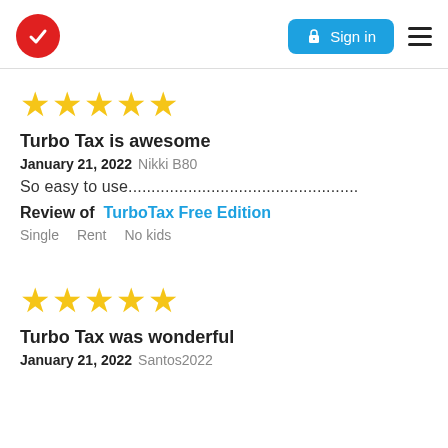TurboTax logo | Sign in | Menu
[Figure (other): Five gold star rating]
Turbo Tax is awesome
January 21, 2022 Nikki B80
So easy to use........................................
Review of TurboTax Free Edition
Single    Rent    No kids
[Figure (other): Five gold star rating]
Turbo Tax was wonderful
January 21, 2022 Santos2022